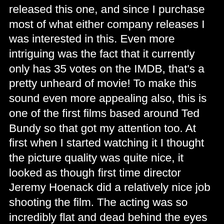released this one, and since I purchase most of what either company releases I was interested in this. Even more intriguing was the fact that it currently only has 35 votes on the IMDB, that's a pretty unheard of movie! To make this sound even more appealing also, this is one of the first films based around Ted Bundy so that got my attention too. At first when I started watching it I thought the picture quality was quite nice, it looked as though first time director Jeremy Hoenack did a relatively nice job shooting the film. The acting was so incredibly flat and dead behind the eyes that the story was dull, I really struggled to make it to the end of the movie despite a semi-promising beginning. Basically we watch a few girls get kidnapped, then they turn up naked and dead (not graphically, and the violence is most often not shown, so it's not all that satisfying on a horror level). There are no thrills, no chills, only a slight surprise and a Police officer who resembles John Saxon but isn't. I've certainly seen worse, but the over abundance of sound effects (the guy who made this became a huge sound effect dude) it really sounded like it was too carried away and often that was laugh inducing, but that's about it. Not something to seek out but at least it looks somewhat professional and